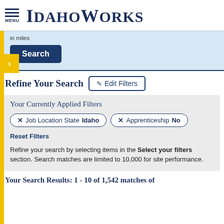MENU  IDAHOWORKS
in miles
Search
Refine Your Search  Edit Filters
Your Currently Applied Filters
✕ Job Location State Idaho
✕ Apprenticeship No
Reset Filters
Refine your search by selecting items in the Select your filters section. Search matches are limited to 10,000 for site performance.
Your Search Results: 1 - 10 of 1,542 matches of